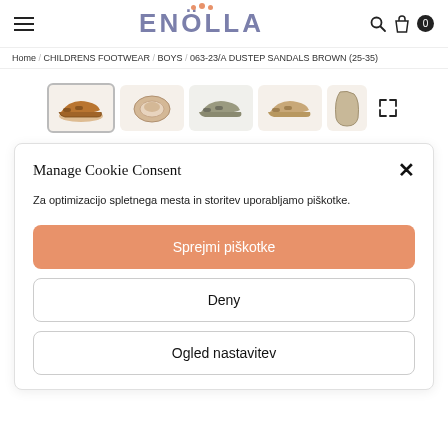ENOLLA — hamburger menu, search, bag, cart (0)
Home / CHILDRENS FOOTWEAR / BOYS / 063-23/A DUSTEP SANDALS BROWN (25-35)
[Figure (photo): Five product thumbnail images of children's brown sandals from different angles, plus an expand/fullscreen icon]
Manage Cookie Consent
Za optimizacijo spletnega mesta in storitev uporabljamo piškotke.
Sprejmi piškotke
Deny
Ogled nastavitev